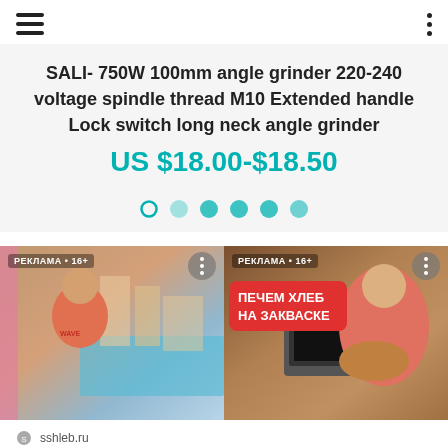Navigation header with hamburger menu and dots menu
SALI- 750W 100mm angle grinder 220-240 voltage spindle thread M10 Extended handle Lock switch long neck angle grinder
US $18.00-$18.50
[Figure (other): Carousel pagination dots: 6 dots, first one is outlined/active in teal, rest are filled teal circles]
[Figure (photo): Advertisement thumbnail: man in pink shirt sitting at outdoor table by a pool, banner 'РЕКЛАМА • 16+']
[Figure (photo): Advertisement thumbnail: woman in pink holding bread, overlay text 'ПЕЧЕМ ХЛЕБ НА ЗАКВАСКЕ', banner 'РЕКЛАМА • 16+', footer 'sshleb.ru']
sshleb.ru